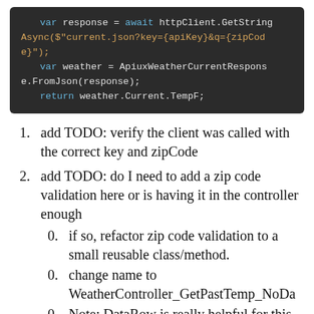[Figure (screenshot): Code block showing C# code: var response = await httpClient.GetStringAsync($"current.json?key={apiKey}&q={zipCode}"); var weather = ApiuxWeatherCurrentResponse.FromJson(response); return weather.Current.TempF;]
1. add TODO: verify the client was called with the correct key and zipCode
2. add TODO: do I need to add a zip code validation here or is having it in the controller enough
1. if so, refactor zip code validation to a small reusable class/method.
2. change name to WeatherController_GetPastTemp_NoDa...
3. Note: DataRow is really helpful for this